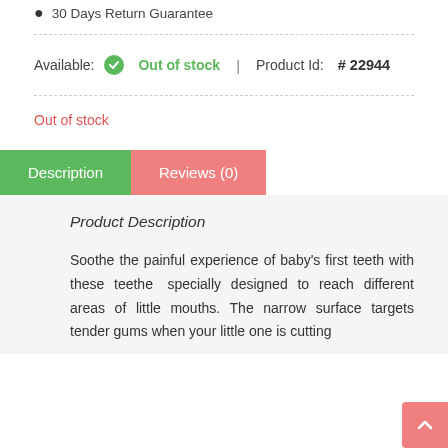30 Days Return Guarantee
Available:  Out of stock  |  Product Id:  # 22944
Out of stock
Description   Reviews (0)
Product Description
Soothe the painful experience of baby's first teeth with these teethers specially designed to reach different areas of little mouths. The narrow surface targets tender gums when your little one is cutting